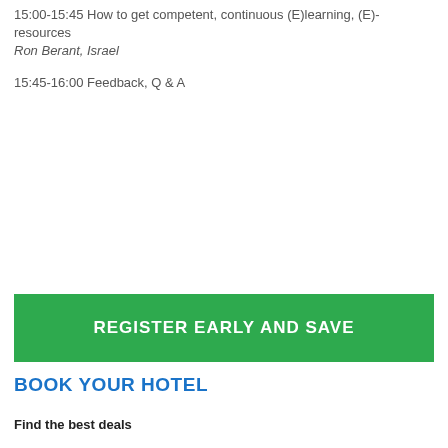15:00-15:45 How to get competent, continuous (E)learning, (E)-resources
Ron Berant, Israel
15:45-16:00 Feedback, Q & A
REGISTER EARLY AND SAVE
BOOK YOUR HOTEL
Find the best deals